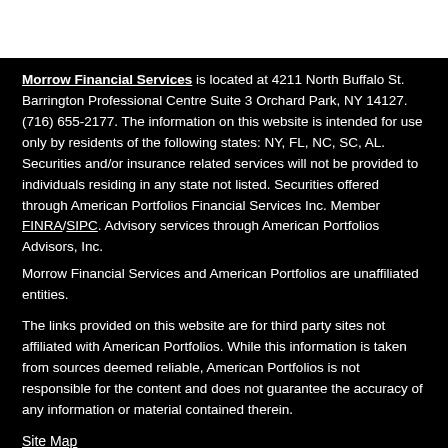Morrow Financial Services is located at 4211 North Buffalo St. Barrington Professional Centre Suite 3 Orchard Park, NY 14127. (716) 655-2177. The information on this website is intended for use only by residents of the following states: NY, FL, NC, SC, AL. Securities and/or insurance related services will not be provided to individuals residing in any state not listed. Securities offered through American Portfolios Financial Services Inc. Member FINRA/SIPC. Advisory services through American Portfolios Advisors, Inc. Morrow Financial Services and American Portfolios are unaffiliated entities.
The links provided on this website are for third party sites not affiliated with American Portfolios. While this information is taken from sources deemed reliable, American Portfolios is not responsible for the content and does not guarantee the accuracy of any information or material contained therein.
Site Map